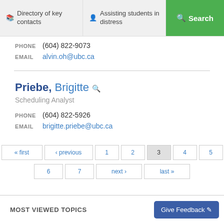Directory of key contacts | Assisting students in distress | Search
PHONE (604) 822-9073
EMAIL alvin.oh@ubc.ca
Priebe, Brigitte
Scheduling Analyst
PHONE (604) 822-5926
EMAIL brigitte.priebe@ubc.ca
« first ‹ previous 1 2 3 4 5 6 7 next › last »
MOST VIEWED TOPICS
Give Feedback